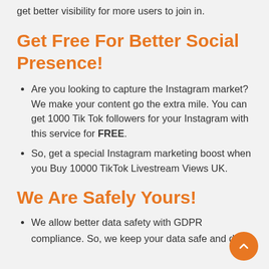get better visibility for more users to join in.
Get Free For Better Social Presence!
Are you looking to capture the Instagram market? We make your content go the extra mile. You can get 1000 Tik Tok followers for your Instagram with this service for FREE.
So, get a special Instagram marketing boost when you Buy 10000 TikTok Livestream Views UK.
We Are Safely Yours!
We allow better data safety with GDPR compliance. So, we keep your data safe and do...